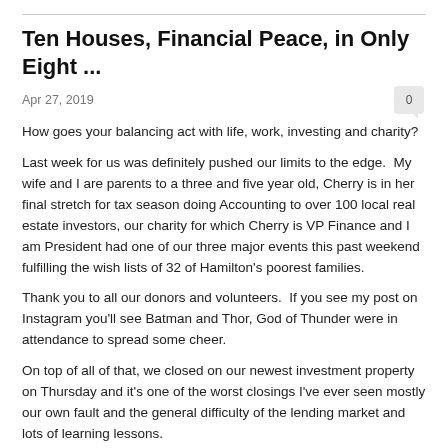Ten Houses, Financial Peace, in Only Eight ...
Apr 27, 2019
How goes your balancing act with life, work, investing and charity?
Last week for us was definitely pushed our limits to the edge.  My wife and I are parents to a three and five year old, Cherry is in her final stretch for tax season doing Accounting to over 100 local real estate investors, our charity for which Cherry is VP Finance and I am President had one of our three major events this past weekend fulfilling the wish lists of 32 of Hamilton's poorest families.
Thank you to all our donors and volunteers.  If you see my post on Instagram you'll see Batman and Thor, God of Thunder were in attendance to spread some cheer.
On top of all of that, we closed on our newest investment property on Thursday and it's one of the worst closings I've ever seen mostly our own fault and the general difficulty of the lending market and lots of learning lessons.
The biggest lesson here is to start your financing process earlier than we did. Most of you are on the ball as you have your financing in order before conditions are lifted. We did not have a financing condition so we let that deadline slip a bit too far. I do however want to thank Butler Mortgages, specifically Dave and Michelle as they bore the brunt of our challenges but got